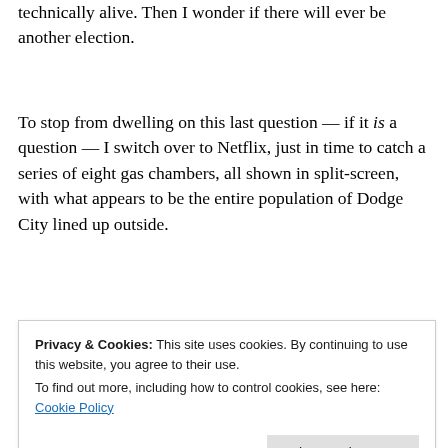technically alive. Then I wonder if there will ever be another election.
To stop from dwelling on this last question — if it is a question — I switch over to Netflix, just in time to catch a series of eight gas chambers, all shown in split-screen, with what appears to be the entire population of Dodge City lined up outside.
Privacy & Cookies: This site uses cookies. By continuing to use this website, you agree to their use. To find out more, including how to control cookies, see here: Cookie Policy
before I do. Then, there I am: in the chamber in the top